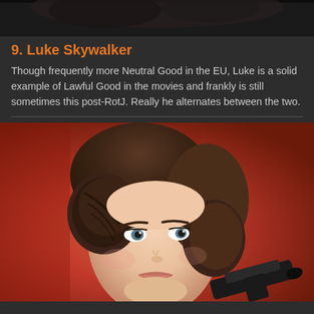[Figure (photo): Partial top image showing dark background, appears to be a Star Wars character photo cropped at top]
9. Luke Skywalker
Though frequently more Neutral Good in the EU, Luke is a solid example of Lawful Good in the movies and frankly is still sometimes this post-RotJ. Really he alternates between the two.
[Figure (photo): Portrait photo of Princess Leia (Carrie Fisher) with iconic bun hairstyle, holding a blaster, against a reddish background]